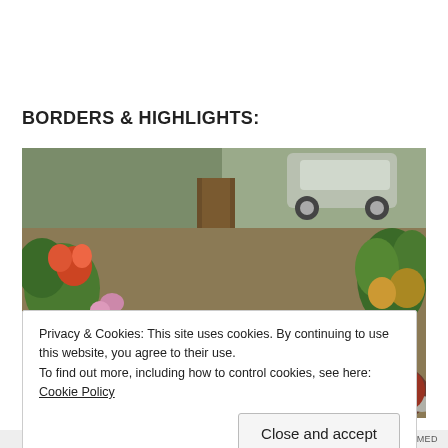BORDERS & HIGHLIGHTS:
[Figure (photo): Outdoor garden scene showing flower borders around a large tree, with rocks edging the garden bed, green and orange plants, a potted plant in the foreground, a small red flower bed in the bottom right corner edged with stones, dry lawn area, and a silver SUV parked on a driveway in the background.]
Privacy & Cookies: This site uses cookies. By continuing to use this website, you agree to their use.
To find out more, including how to control cookies, see here: Cookie Policy
Close and accept
AIRPORT-THEMED